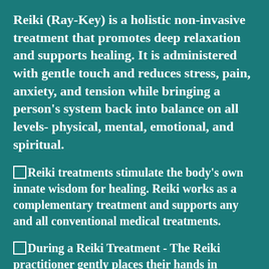Reiki (Ray-Key) is a holistic non-invasive treatment that promotes deep relaxation and supports healing. It is administered with gentle touch and reduces stress, pain, anxiety, and tension while bringing a person's system back into balance on all levels- physical, mental, emotional, and spiritual.
Reiki treatments stimulate the body's own innate wisdom for healing. Reiki works as a complementary treatment and supports any and all conventional medical treatments.
During a Reiki Treatment - The Reiki practitioner gently places their hands in different positions on or slightly above the body while the patient, fully clothed, sits in a chair or lies on a bed or on a massage table.